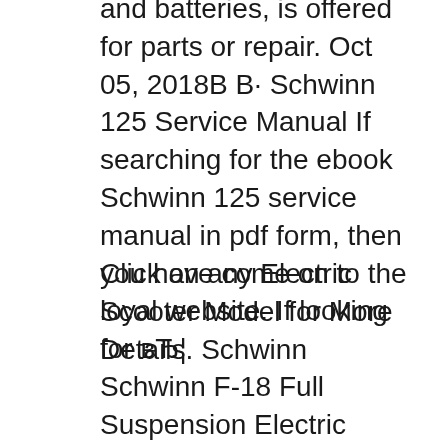and batteries, is offered for parts or repair. Oct 05, 2018В В· Schwinn 125 Service Manual If searching for the ebook Schwinn 125 service manual in pdf form, then you have come on to the loyal website. If looking for вЂ¦
Click on any Electric Scooter Model for More Details. Schwinn Schwinn F-18 Full Suspension Electric Scooter-$449: Schwinn XCEL Long Range Electric Scooter-$499: Please note that these are discontinued models that we still support with parts. Free Survival Kit with every Click on any Electric Scooter Model for More Details. Schwinn Schwinn F-18 Full Suspension Electric Scooter-$449: Schwinn XCEL...